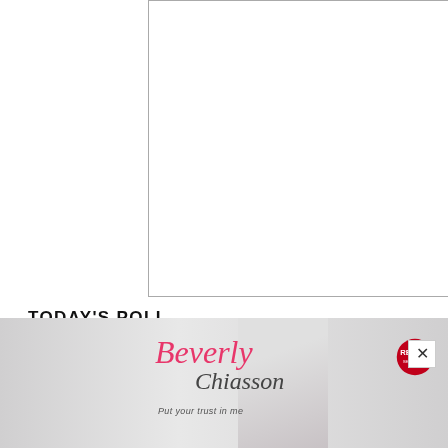[Figure (other): Empty white rectangle with thin border, representing a placeholder image or article photo]
TODAY'S POLL
Will you be comfortable indoor dining again starting this week?
[Figure (photo): Advertisement banner for Beverly Chiasson RE/MAX real estate agent, showing woman in red blazer with pink script name text and RE/MAX Sea to Sky logo]